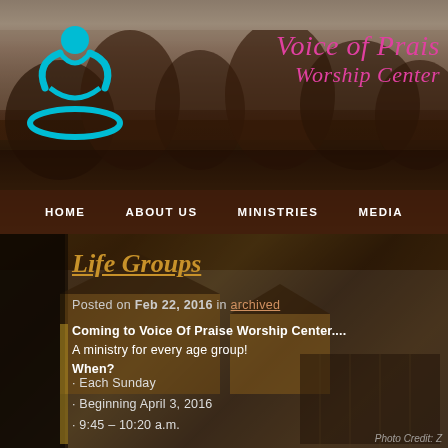[Figure (photo): Outdoor wooded/forest scene background header photo with dark warm tones]
[Figure (logo): Teal stylized figure with arms raised above an oval ring - Voice of Praise Worship Center logo]
Voice of Praise Worship Center
HOME  ABOUT US  MINISTRIES  MEDIA
[Figure (photo): Aerial/elevated photo of church building with parking lot, warm brown tones]
Life Groups
Posted on Feb 22, 2016 in archived
Coming to Voice Of Praise Worship Center.... A ministry for every age group! When?
· Each Sunday
· Beginning April 3, 2016
· 9:45 – 10:20 a.m.
Photo Credit: Z